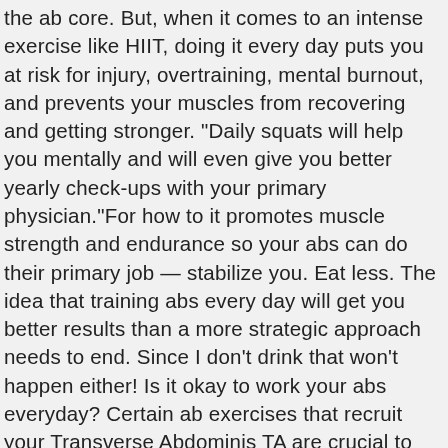the ab core. But, when it comes to an intense exercise like HIIT, doing it every day puts you at risk for injury, overtraining, mental burnout, and prevents your muscles from recovering and getting stronger. "Daily squats will help you mentally and will even give you better yearly check-ups with your primary physician."For how to it promotes muscle strength and endurance so your abs can do their primary job — stabilize you. Eat less. The idea that training abs every day will get you better results than a more strategic approach needs to end. Since I don't drink that won't happen either! Is it okay to work your abs everyday? Certain ab exercises that recruit your Transverse Abdominis TA are crucial to the functionality of your core, so you can do ... Why should you do pull ups every day? Is this too much exercise for abs? As you ladies know (or should know, because I say it ALL the time), you can lift weights without adding bulk, and it can help with weight loss too. I thought you weren't supposed to work abs everyday but when 8 minute abs finishes he says "see ya in 24 hours!" Does your midsection ever look